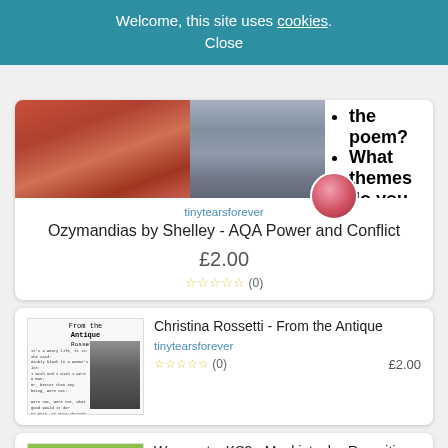Welcome, this site uses cookies. Close
[Figure (screenshot): Ozymandias resource card showing desert image, statue image, and bullet point text about themes]
tinytearsforever
Ozymandias by Shelley - AQA Power and Conflict
£2.00
☆☆☆☆☆ (0)
[Figure (screenshot): Christina Rossetti - From the Antique resource thumbnail showing poem text and black and white photo]
Christina Rossetti - From the Antique
tinytearsforever
☆☆☆☆☆ (0)
£2.00
[Figure (screenshot): War poetry KS3 - Mackintosh - Recruiting resource thumbnail with green header and war poster image]
War poetry KS3 - Mackintosh - Recruiting
tinytearsforever